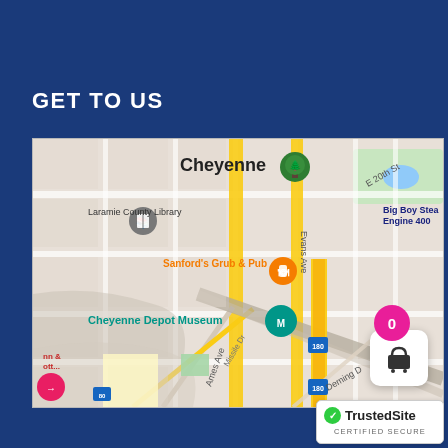GET TO US
[Figure (map): Google Maps screenshot showing downtown Cheyenne, Wyoming. Shows Laramie County Library, Sanford's Grub & Pub, Cheyenne Depot Museum, Big Boy Steam Engine 400, streets including E 20th St, Evans Ave, E 9th St, Ames Ave, Deming Dr, Missile Dr, and highway I-180. Orange restaurant marker, teal museum marker, green park marker visible.]